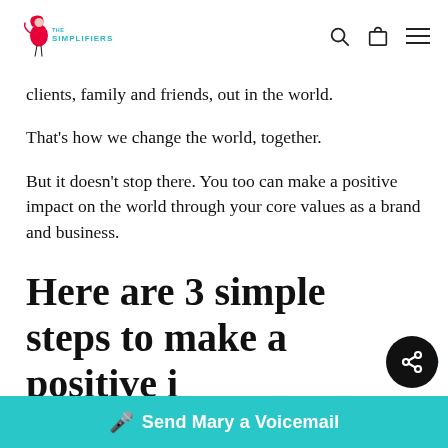The Simplifiers
clients, family and friends, out in the world.
That's how we change the world, together.
But it doesn't stop there. You too can make a positive impact on the world through your core values as a brand and business.
Here are 3 simple steps to make a positive
Send Mary a Voicemail